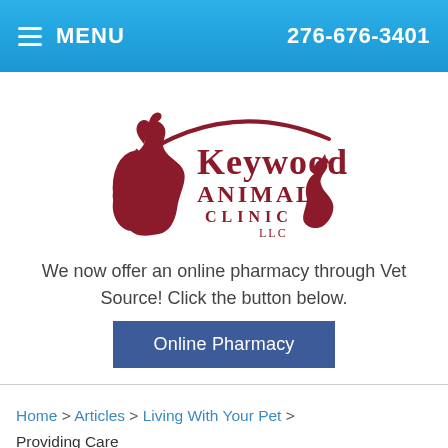MENU   276-676-3401
[Figure (logo): Keywood Animal Clinic LLC logo with horse and cat silhouettes in dark red/maroon color]
We now offer an online pharmacy through Vet Source! Click the button below.
Online Pharmacy
Home > Articles > Living With Your Pet > Providing Care